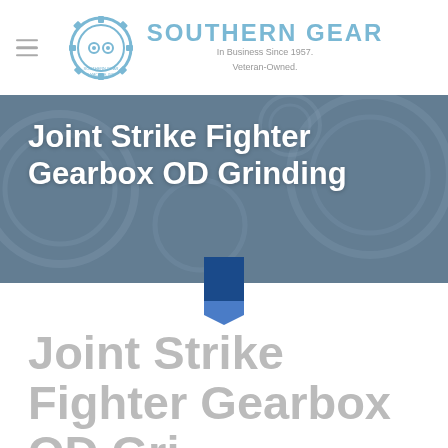SOUTHERN GEAR — In Business Since 1957. Veteran-Owned.
[Figure (infographic): Hero banner with gears background image and white bold text: Joint Strike Fighter Gearbox OD Grinding]
Joint Strike Fighter Gearbox OD Grinding